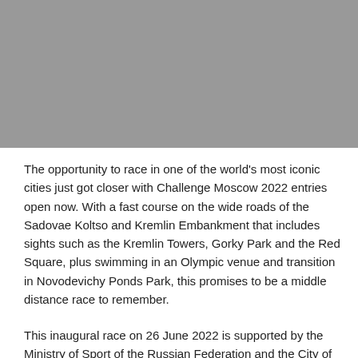[Figure (photo): Gray placeholder image area at the top of the page]
The opportunity to race in one of the world's most iconic cities just got closer with Challenge Moscow 2022 entries open now. With a fast course on the wide roads of the Sadovae Koltso and Kremlin Embankment that includes sights such as the Kremlin Towers, Gorky Park and the Red Square, plus swimming in an Olympic venue and transition in Novodevichy Ponds Park, this promises to be a middle distance race to remember.
This inaugural race on 26 June 2022 is supported by the Ministry of Sport of the Russian Federation and the City of Moscow Department of Physical Culture and Sports as well as